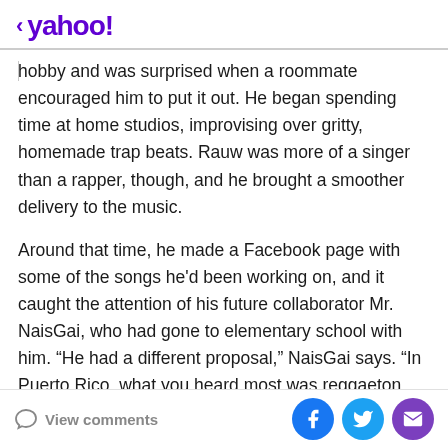< yahoo!
hobby and was surprised when a roommate encouraged him to put it out. He began spending time at home studios, improvising over gritty, homemade trap beats. Rauw was more of a singer than a rapper, though, and he brought a smoother delivery to the music.
Around that time, he made a Facebook page with some of the songs he'd been working on, and it caught the attention of his future collaborator Mr. NaisGai, who had gone to elementary school with him. “He had a different proposal,” NaisGai says. “In Puerto Rico, what you heard most was reggaeton, and at that moment, Rauw was making R&B with an American flow.”
View comments